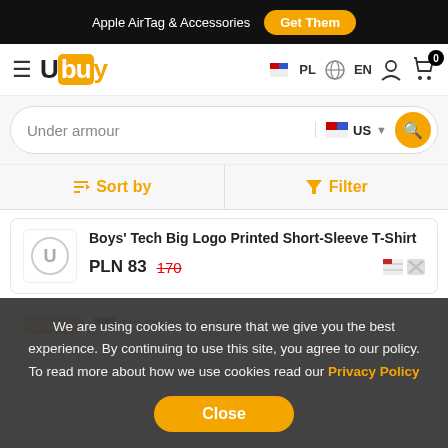Apple AirTag & Accessories  Get Them
[Figure (logo): Ubuy logo with orange background on 'buy' letters]
PL  EN  user icon  cart 0
Under armour  US  search button
Sort by  Filter
Boys' Tech Big Logo Printed Short-Sleeve T-Shirt  PLN 83  170
42% OFF  US Store
We are using cookies to ensure that we give you the best experience. By continuing to use this site, you agree to our policy. To read more about how we use cookies read our Privacy Policy
Close